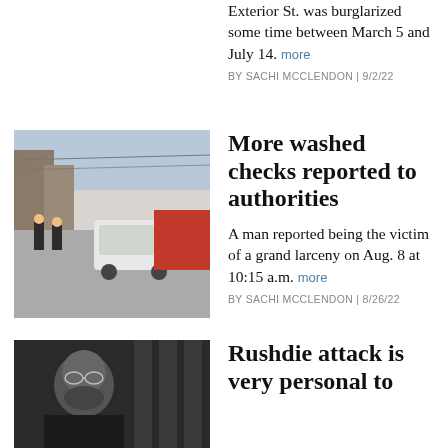Exterior St. was burglarized some time between March 5 and July 14. more
BY SACHI MCCLENDON | 9/2/22
[Figure (photo): Street scene with fire trucks and emergency vehicles on a city block]
More washed checks reported to authorities
A man reported being the victim of a grand larceny on Aug. 8 at 10:15 a.m. more
BY SACHI MCCLENDON | 8/26/22
[Figure (photo): Black and white portrait of a man with beard wearing glasses]
Rushdie attack is very personal to